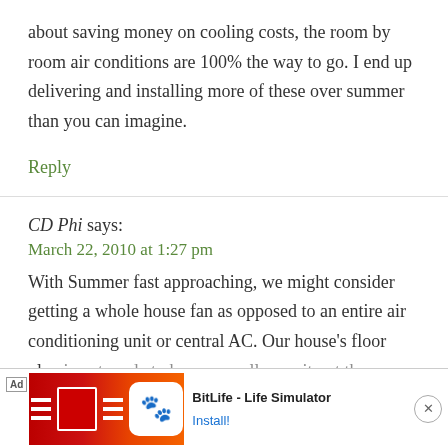about saving money on cooling costs, the room by room air conditions are 100% the way to go. I end up delivering and installing more of these over summer than you can imagine.
Reply
CD Phi says:
March 22, 2010 at 1:27 pm
With Summer fast approaching, we might consider getting a whole house fan as opposed to an entire air conditioning unit or central AC. Our house's floor plan is not made to have a small ac unit out the window so we've...
[Figure (screenshot): Advertisement banner for BitLife - Life Simulator app with an Ad label, game imagery with red soccer shirt and BitLife logo, and Install button]